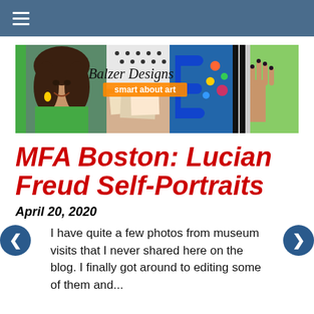☰ (hamburger menu)
[Figure (illustration): Balzer Designs blog banner — 'smart about art' — showing a smiling woman with curly hair and yellow earrings on the left, surrounded by colorful art collage images, with cursive text 'Balzer Designs' and orange subtitle 'smart about art']
MFA Boston: Lucian Freud Self-Portraits
April 20, 2020
I have quite a few photos from museum visits that I never shared here on the blog. I finally got around to editing some of them and...